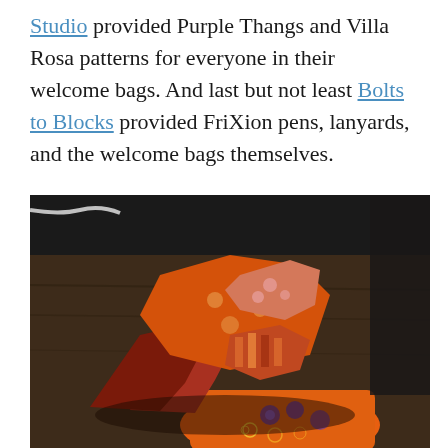Studio provided Purple Thangs and Villa Rosa patterns for everyone in their welcome bags. And last but not least Bolts to Blocks provided FriXion pens, lanyards, and the welcome bags themselves.
[Figure (photo): A photograph of a pile of orange, red, and patterned fabric pieces arranged on a dark wooden table surface, with various quilting or craft fabric scraps visible.]